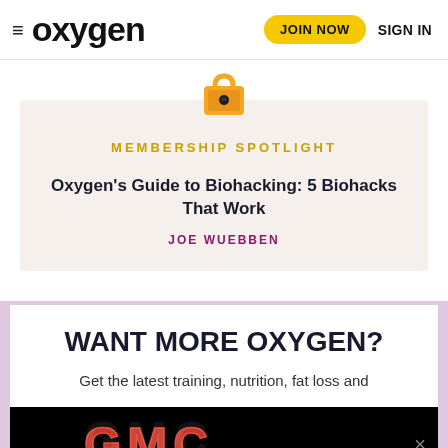≡ oxygen  JOIN NOW  SIGN IN
[Figure (illustration): Orange padlock emoji icon]
MEMBERSHIP SPOTLIGHT
Oxygen's Guide to Biohacking: 5 Biohacks That Work
JOE WUEBBEN
WANT MORE OXYGEN?
Get the latest training, nutrition, fat loss and
[Figure (logo): GMC logo advertisement on black background]